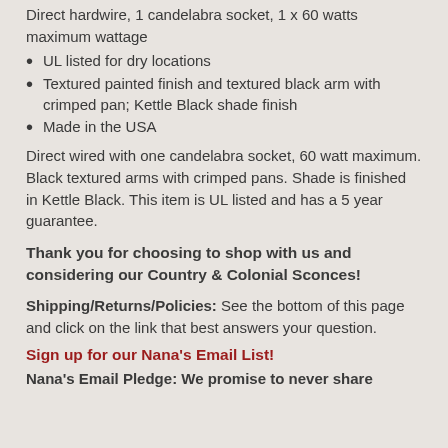Direct hardwire, 1 candelabra socket, 1 x 60 watts maximum wattage
UL listed for dry locations
Textured painted finish and textured black arm with crimped pan; Kettle Black shade finish
Made in the USA
Direct wired with one candelabra socket, 60 watt maximum. Black textured arms with crimped pans. Shade is finished in Kettle Black. This item is UL listed and has a 5 year guarantee.
Thank you for choosing to shop with us and considering our Country & Colonial Sconces!
Shipping/Returns/Policies: See the bottom of this page and click on the link that best answers your question.
Sign up for our Nana's Email List!
Nana's Email Pledge: We promise to never share